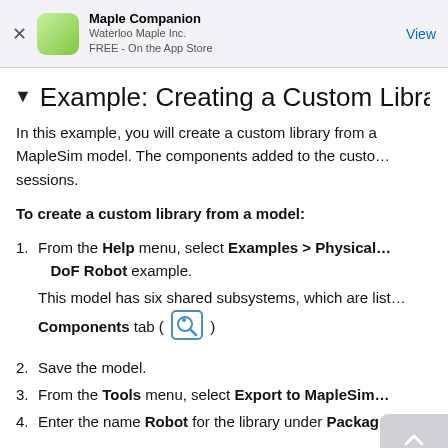Maple Companion
Waterloo Maple Inc.
FREE - On the App Store
Example: Creating a Custom Library fr…
In this example, you will create a custom library from a MapleSim model. The components added to the custom library are available across sessions.
To create a custom library from a model:
From the Help menu, select Examples > Physical … DoF Robot example.
This model has six shared subsystems, which are listed in the Components tab ( [icon] )
Save the model.
From the Tools menu, select Export to MapleSim…
Enter the name Robot for the library under Package…